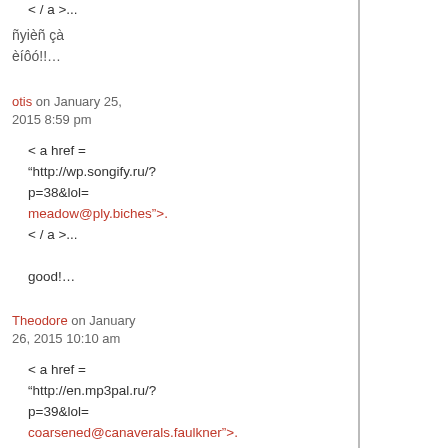< / a >...
ñyièñ çà
èíôó!!…
otis on January 25, 2015 8:59 pm
< a href =
“http://wp.songify.ru/?p=38&lol=
meadow@ply.biches”>.
< / a >...
good!…
Theodore on January 26, 2015 10:10 am
< a href =
“http://en.mp3pal.ru/?p=39&lol=
coarsened@canaverals.faulkner”>.
< / a >...